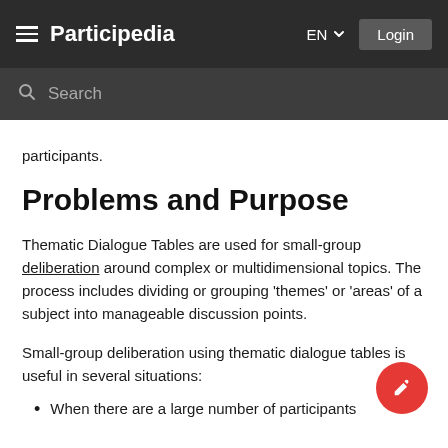Participedia EN Login
participants.
Problems and Purpose
Thematic Dialogue Tables are used for small-group deliberation around complex or multidimensional topics. The process includes dividing or grouping 'themes' or 'areas' of a subject into manageable discussion points.
Small-group deliberation using thematic dialogue tables is useful in several situations:
When there are a large number of participants